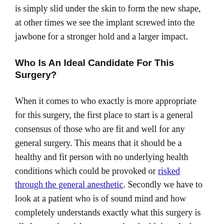is simply slid under the skin to form the new shape, at other times we see the implant screwed into the jawbone for a stronger hold and a larger impact.
Who Is An Ideal Candidate For This Surgery?
When it comes to who exactly is more appropriate for this surgery, the first place to start is a general consensus of those who are fit and well for any general surgery. This means that it should be a healthy and fit person with no underlying health conditions which could be provoked or risked through the general anesthetic. Secondly we have to look at a patient who is of sound mind and how completely understands exactly what this surgery is all about, what risks are associated with it and what the process is going to look like. And finally we have to consider someone who has strong bone density,